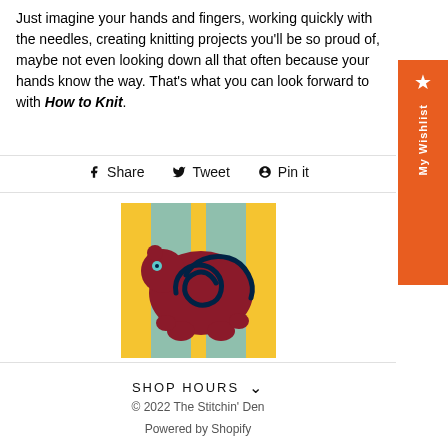Just imagine your hands and fingers, working quickly with the needles, creating knitting projects you'll be so proud of, maybe not even looking down all that often because your hands know the way. That's what you can look forward to with How to Knit.
Share  Tweet  Pin it
[Figure (logo): Logo of The Stitchin' Den — a stylized dark red bear with a spiral on its body, standing on a background of yellow and teal vertical stripes.]
SHOP HOURS
© 2022 The Stitchin' Den
Powered by Shopify